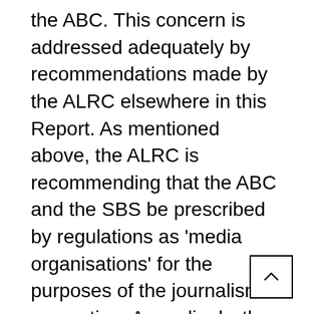the ABC. This concern is addressed adequately by recommendations made by the ALRC elsewhere in this Report. As mentioned above, the ALRC is recommending that the ABC and the SBS be prescribed by regulations as 'media organisations' for the purposes of the journalism exemption. Accordingly, the ABC and the SBS's programming activities generally would be covered by the journalism exemption and therefore fall outside the jurisdiction of the Privacy Commissioner.